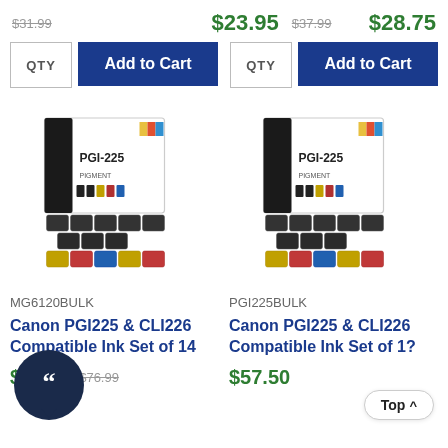$31.99 (strikethrough) | $23.95 | $37.99 (strikethrough) | $28.75
QTY | Add to Cart | QTY | Add to Cart
[Figure (photo): Canon PGI-225 & CLI226 ink cartridge bulk set box with multiple ink cartridges displayed in front - left product]
[Figure (photo): Canon PGI-225 & CLI226 ink cartridge bulk set box with multiple ink cartridges displayed in front - right product]
MG6120BULK
PGI225BULK
Canon PGI225 & CLI226 Compatible Ink Set of 14
Canon PGI225 & CLI226 Compatible Ink Set of 1?
$67.09 (sale) $76.99 (strikethrough) | $57.50